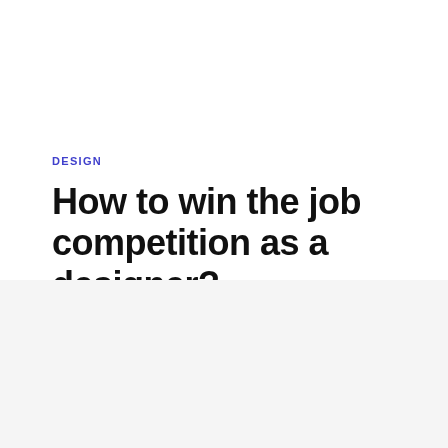DESIGN
How to win the job competition as a designer?
FEBRUARY 25, 2020